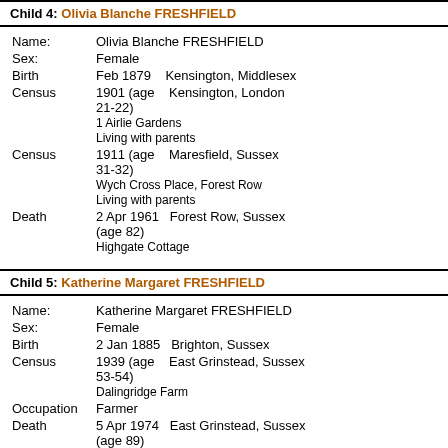Child 4: Olivia Blanche FRESHFIELD
| Field | Value |
| --- | --- |
| Name: | Olivia Blanche FRESHFIELD |
| Sex: | Female |
| Birth | Feb 1879   Kensington, Middlesex |
| Census | 1901 (age 21-22)   Kensington, London
1 Airlie Gardens
Living with parents |
| Census | 1911 (age 31-32)   Maresfield, Sussex
Wych Cross Place, Forest Row
Living with parents |
| Death | 2 Apr 1961   Forest Row, Sussex (age 82)
Highgate Cottage |
Child 5: Katherine Margaret FRESHFIELD
| Field | Value |
| --- | --- |
| Name: | Katherine Margaret FRESHFIELD |
| Sex: | Female |
| Birth | 2 Jan 1885   Brighton, Sussex |
| Census | 1939 (age 53-54)   East Grinstead, Sussex
Dalingridge Farm |
| Occupation | Farmer |
| Death | 5 Apr 1974   East Grinstead, Sussex (age 89)
Dalingridge Farm |